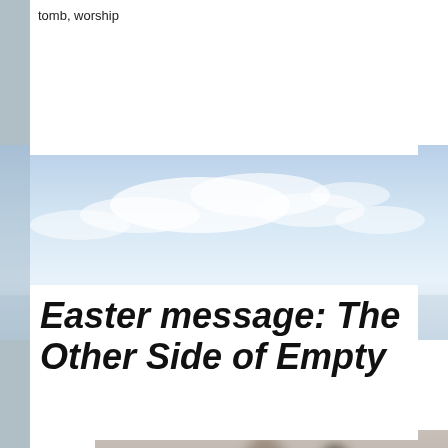tomb, worship
[Figure (photo): Sky with clouds, light blue tones, outdoor landscape photo used as background strip]
Easter message: The Other Side of Empty
[Figure (photo): Blurred silhouettes of people, dark and light tones, moody indoor or dark scene]